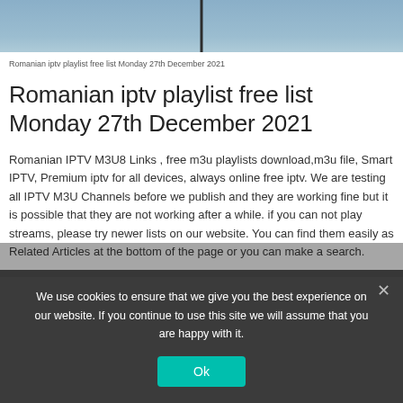[Figure (photo): Blue sky with antenna pole in the center]
Romanian iptv playlist free list Monday 27th December 2021
Romanian iptv playlist free list Monday 27th December 2021
Romanian IPTV M3U8 Links , free m3u playlists download,m3u file, Smart IPTV, Premium iptv for all devices, always online free iptv. We are testing all IPTV M3U Channels before we publish and they are working fine but it is possible that they are not working after a while. if you can not play streams, please try newer lists on our website. You can find them easily as Related Articles at the bottom of the page or you can make a search.
We use cookies to ensure that we give you the best experience on our website. If you continue to use this site we will assume that you are happy with it.